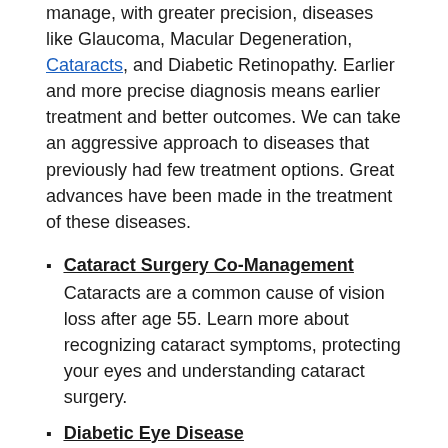manage, with greater precision, diseases like Glaucoma, Macular Degeneration, Cataracts, and Diabetic Retinopathy. Earlier and more precise diagnosis means earlier treatment and better outcomes. We can take an aggressive approach to diseases that previously had few treatment options. Great advances have been made in the treatment of these diseases.
Cataract Surgery Co-Management
Cataracts are a common cause of vision loss after age 55. Learn more about recognizing cataract symptoms, protecting your eyes and understanding cataract surgery.
Diabetic Eye Disease
Diabetes and vision go hand in hand. If you have diabetes, you need to know that having this systemic disease puts you at greater risk for developing vision problems.
Glaucoma Testing & Treatment
Glaucoma is a condition that causes damage to your